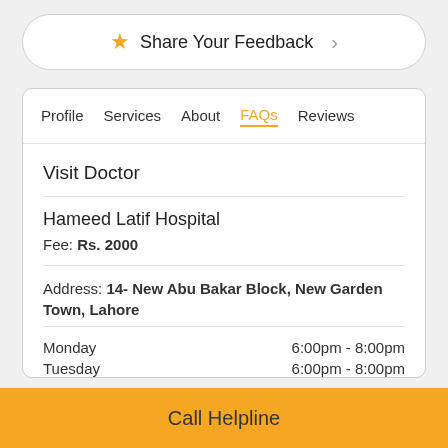Share Your Feedback
Profile  Services  About  FAQs  Reviews
Visit Doctor
Hameed Latif Hospital
Fee: Rs. 2000
Address: 14- New Abu Bakar Block, New Garden Town, Lahore
Monday    6:00pm - 8:00pm
Tuesday   6:00pm - 8:00pm
Call Helpline